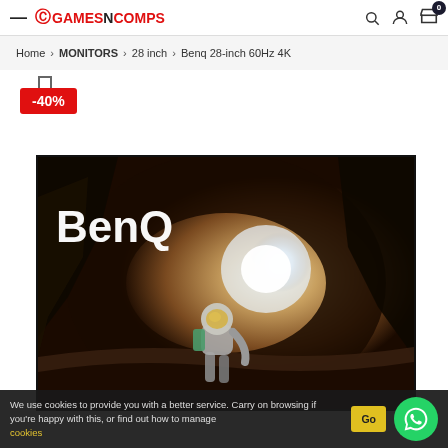GamesNComps — hamburger menu, search, account, cart (0)
Home > MONITORS > 28 inch > Benq 28-inch 60Hz 4K
-40%
[Figure (photo): BenQ monitor advertisement showing the BenQ logo over a sci-fi cave scene with an astronaut figure and glowing planetary body in background]
We use cookies to provide you with a better service. Carry on browsing if you're happy with this, or find out how to manage cookies